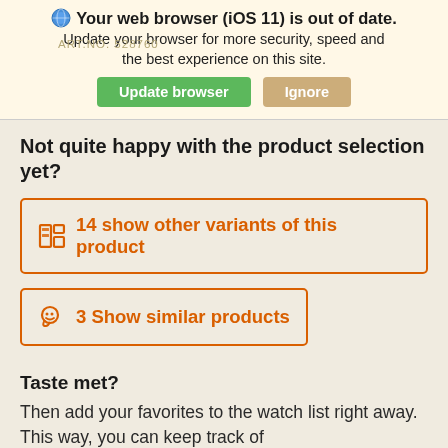Your web browser (iOS 11) is out of date. Update your browser for more security, speed and the best experience on this site.
ART.NO. 528760
Not quite happy with the product selection yet?
14 show other variants of this product
3 Show similar products
Taste met?
Then add your favorites to the watch list right away. This way, you can keep track of